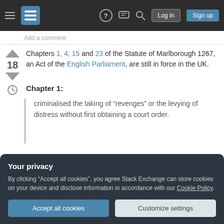Stack Exchange navigation bar with hamburger menu, logo, help, chat, search icons, Log in and Sign up buttons
Add a comment
Chapters 1, 4, 15 and 23 of the Statute of Marlborough 1267, an Act of the English Parliament, are still in force in the UK.
Chapter 1:
criminalised the taking of “revenges” or the levying of distress without first obtaining a court order.
Your privacy
By clicking “Accept all cookies”, you agree Stack Exchange can store cookies on your device and disclose information in accordance with our Cookie Policy.
particularly where the removal was carried